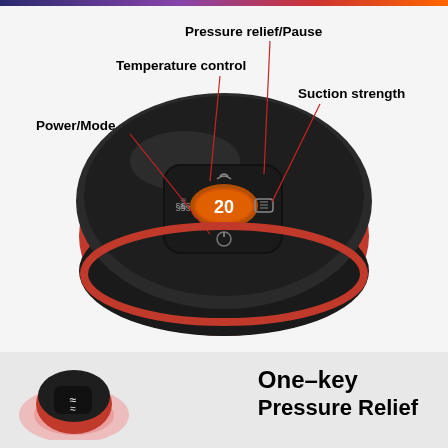[Figure (photo): Top-down view of a red and black circular massager device with a glossy black control panel on top. The control panel displays an orange digital readout showing '20', with icons for heat (wavy lines), suction/mode (power button), pressure/pause (wave icon), and massage strength. Red annotation lines point to four labeled controls: 'Pressure relief/Pause' at top, 'Temperature control' to the left-center, 'Suction strength' at right, and 'Power/Mode' at lower left.]
Pressure relief/Pause
Temperature control
Suction strength
Power/Mode
[Figure (photo): Partial view of the same red/black circular massager device at lower left, showing a button with wave icon. To the right is bold text reading 'One-key Pressure Relief'.]
One-key Pressure Relief